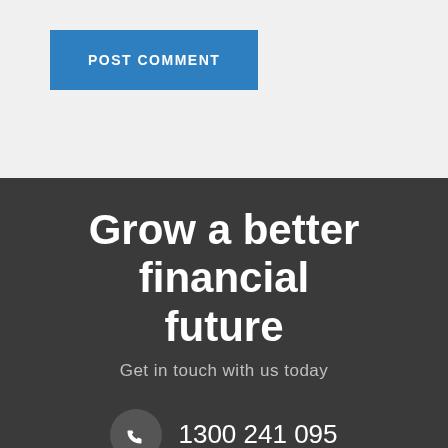POST COMMENT
Grow a better financial future
Get in touch with us today
1300 241 095
607/247 Coward Street, Mascot, NSW